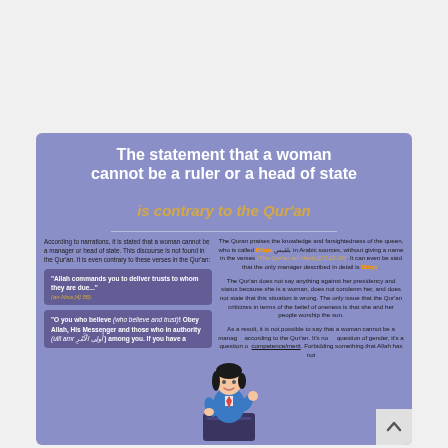The statement that a woman cannot be a ruler or a head of state is contrary to the Qur'an
According to narrations, it is stated that a woman cannot be a manager or head of state. This discourse is not found in the Qur'an. It is even contrary to these verses in the Qur'an:
"Allah commands you to deliver trusts to whom they are due..." (an-Nisa [4] 58).
"O you who believe (who believe and trust)! Obey Allah, His Messenger and those who in authority (ulil amr) among you. If you have a
The Quran praises the knowledge and farsightedness of the queen, who is called Bilqis in Arabic sources, without giving a name in the verses (The Qur'an an-Naml [27] 22-37). It can even be said that the only manager described in detail is Bilqis. The Qur'an does not say anything against her presidency and status because she is a woman, does not condemn her, and does not state that this situation is wrong. The only issue that the Qur'an criticizes in terms of the belief of oneness is that she and her people worship the sun. As a result, it is not possible to say that a woman cannot be a manager according to the Qur'an. It's not a question of gender, it's a question of competence/merit. Forbidding something that Allah has not
[Figure (illustration): Cartoon illustration of a woman in a blue suit standing at a podium/lectern, gesturing with one hand raised]